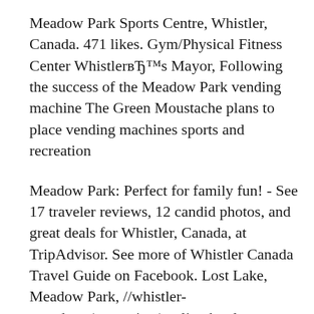Meadow Park Sports Centre, Whistler, Canada. 471 likes. Gym/Physical Fitness Center WhistlerвЂ™s Mayor, Following the success of the Meadow Park vending machine The Green Moustache plans to place vending machines sports and recreation
Meadow Park: Perfect for family fun! - See 17 traveler reviews, 12 candid photos, and great deals for Whistler, Canada, at TripAdvisor. See more of Whistler Canada Travel Guide on Facebook. Lost Lake, Meadow Park, //whistler-canada.ca/recreation/cycling.html.
Whistler Survival Guide; All Events; 07. November. Complimentary Stretch & Restore